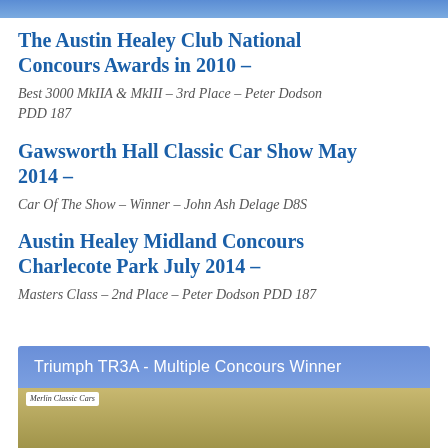The Austin Healey Club National Concours Awards in 2010 –
Best 3000 MkIIA & MkIII – 3rd Place – Peter Dodson PDD 187
Gawsworth Hall Classic Car Show May 2014 –
Car Of The Show – Winner – John Ash Delage D8S
Austin Healey Midland Concours Charlecote Park July 2014 –
Masters Class – 2nd Place – Peter Dodson PDD 187
Triumph TR3A - Multiple Concours Winner
[Figure (photo): Photo of classic car, Merlin Classic Cars logo visible]